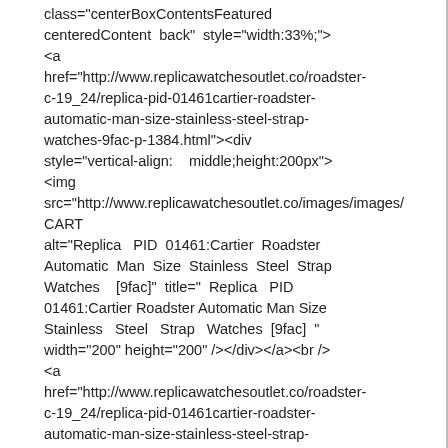class="centerBoxContentsFeatured centeredContent  back"  style="width:33%;">
<a
href="http://www.replicawatchesoutlet.co/roadster-c-19_24/replica-pid-01461cartier-roadster-automatic-man-size-stainless-steel-strap-watches-9fac-p-1384.html"><div style="vertical-align:    middle;height:200px">
<img
src="http://www.replicawatchesoutlet.co/images/images/CART alt="Replica   PID  01461:Cartier  Roadster Automatic  Man  Size  Stainless  Steel  Strap Watches    [9fac]"  title="  Replica   PID 01461:Cartier Roadster Automatic Man Size Stainless   Steel   Strap   Watches  [9fac]  " width="200" height="200" /></div></a><br />
<a
href="http://www.replicawatchesoutlet.co/roadster-c-19_24/replica-pid-01461cartier-roadster-automatic-man-size-stainless-steel-strap-watches-9fac-p-1384.html">Replica        PID 01461:Cartier Roadster Automatic Man Size Stainless Steel Strap Watches [9fac]</a><br /><span           class="normalprice">$957.00 </span>&nbsp;<span class="productSpecialPrice">$210.00</span> <span       class="productPriceDiscount"><br />Save:&nbsp;78%  off</span>  </div>  <div class="centerBoxContentsFeatured centeredContent  back"  style="width:33%;">